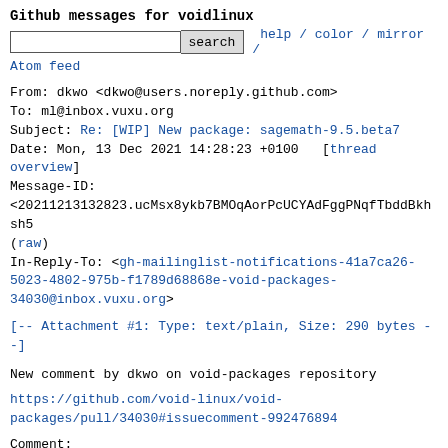Github messages for voidlinux
search  help / color / mirror /
Atom feed
From: dkwo <dkwo@users.noreply.github.com>
To: ml@inbox.vuxu.org
Subject: Re: [WIP] New package: sagemath-9.5.beta7
Date: Mon, 13 Dec 2021 14:28:23 +0100   [thread overview]
Message-ID:
<20211213132823.ucMsx8ykb7BMOqAorPcUCYAdFggPNqfTbddBkhsh5
(raw)
In-Reply-To: <gh-mailinglist-notifications-41a7ca26-5023-4802-975b-f1789d68868e-void-packages-34030@inbox.vuxu.org>
[-- Attachment #1: Type: text/plain, Size: 290 bytes --]
New comment by dkwo on void-packages repository
https://github.com/void-linux/void-packages/pull/34030#issuecomment-992476894
Comment:
The last quote is from the github ci, not from my local system.
But I will try again repackaging maxima.
Great, I think not much is missing for 3.10